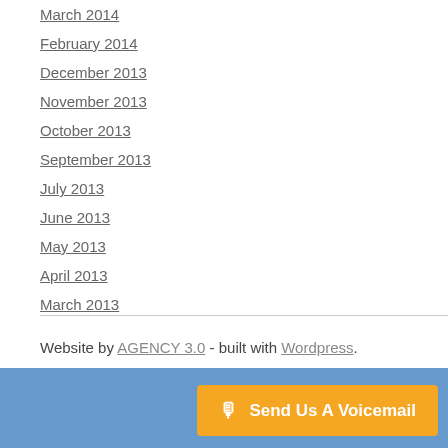March 2014
February 2014
December 2013
November 2013
October 2013
September 2013
July 2013
June 2013
May 2013
April 2013
March 2013
Website by AGENCY 3.0 - built with Wordpress.
Send Us A Voicemail